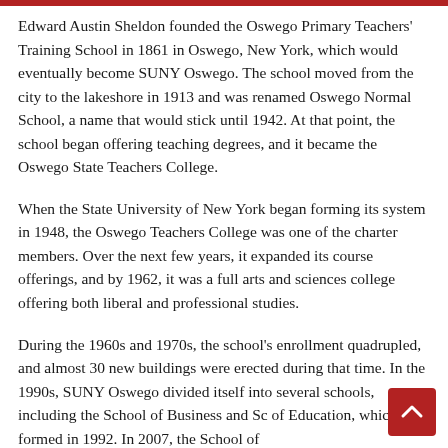Edward Austin Sheldon founded the Oswego Primary Teachers' Training School in 1861 in Oswego, New York, which would eventually become SUNY Oswego. The school moved from the city to the lakeshore in 1913 and was renamed Oswego Normal School, a name that would stick until 1942. At that point, the school began offering teaching degrees, and it became the Oswego State Teachers College.
When the State University of New York began forming its system in 1948, the Oswego Teachers College was one of the charter members. Over the next few years, it expanded its course offerings, and by 1962, it was a full arts and sciences college offering both liberal and professional studies.
During the 1960s and 1970s, the school's enrollment quadrupled, and almost 30 new buildings were erected during that time. In the 1990s, SUNY Oswego divided itself into several schools, including the School of Business and Sc of Education, which formed in 1992. In 2007, the School of